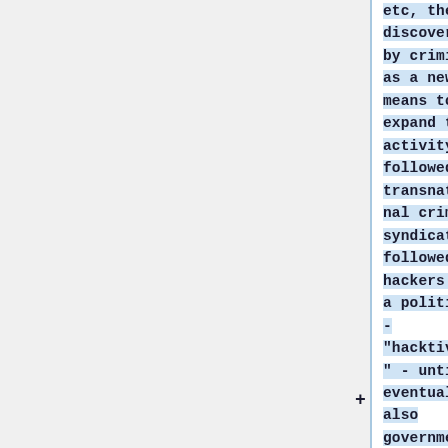etc, then discovered by criminals as a new means to expand their activity followed by transnational crime syndicates, followed by hackers with a political - "hacktivists" - until eventually also government discovered cyber-space